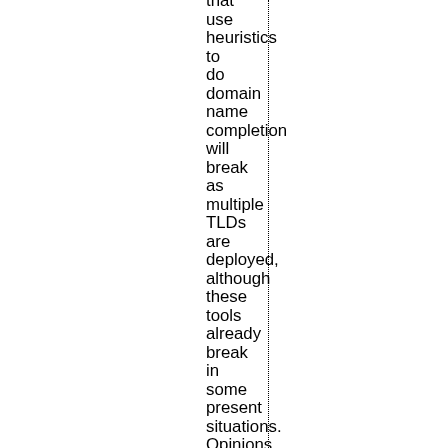that use heuristics to do domain name completion will break as multiple TLDs are deployed, although these tools already break in some present situations. Opinions were